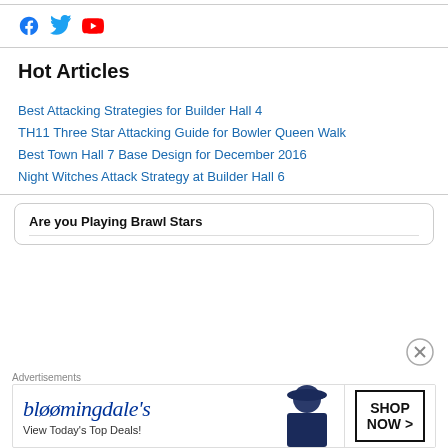[Figure (other): Social media icons: Facebook, Twitter, YouTube in blue]
Hot Articles
Best Attacking Strategies for Builder Hall 4
TH11 Three Star Attacking Guide for Bowler Queen Walk
Best Town Hall 7 Base Design for December 2016
Night Witches Attack Strategy at Builder Hall 6
Are you Playing Brawl Stars
Advertisements
[Figure (other): Bloomingdale's advertisement banner: View Today's Top Deals! SHOP NOW >]